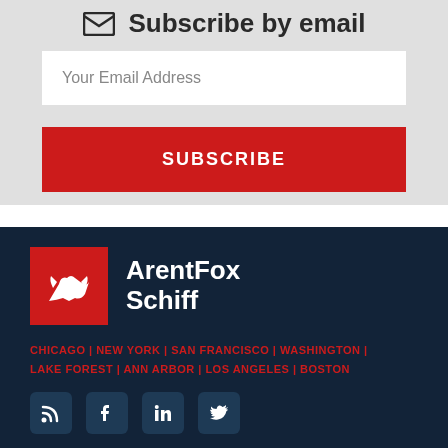Subscribe by email
Your Email Address
SUBSCRIBE
[Figure (logo): ArentFox Schiff logo — red square with white fox silhouette, next to bold white text reading ArentFox Schiff]
CHICAGO | NEW YORK | SAN FRANCISCO | WASHINGTON | LAKE FOREST | ANN ARBOR | LOS ANGELES | BOSTON
[Figure (infographic): Four social media icons: RSS feed, Facebook, LinkedIn, Twitter — white icons on dark navy rounded square backgrounds]